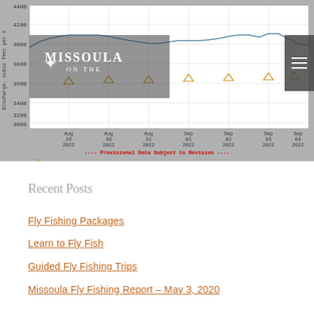[Figure (continuous-plot): USGS stream discharge chart for Clark Fork River near Missoula, Aug 29 – Sep 05 2022. Y-axis: Discharge (cubic feet per second), ranging ~3000–4400. Blue line for Discharge, orange triangles for Median daily statistic (76 years). Overlaid with Missoula On The logo. Note: Provisional Data Subject to Revision.]
Recent Posts
Fly Fishing Packages
Learn to Fly Fish
Guided Fly Fishing Trips
Missoula Fly Fishing Report – May 3, 2020